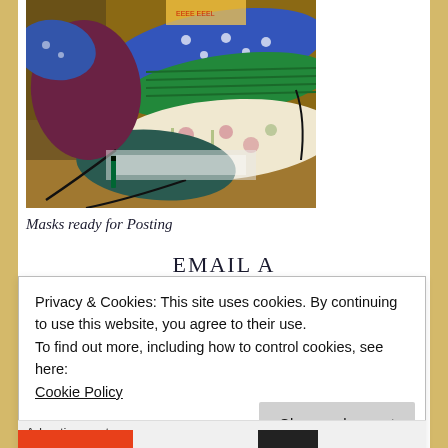[Figure (photo): A pile of colorful fabric face masks with elastic straps, ready for posting. Masks feature various patterns including blue with white spots, green, floral/botanical prints, and dark purple/maroon. Sitting on a wooden surface with some papers.]
Masks ready for Posting
EMAIL A
Privacy & Cookies: This site uses cookies. By continuing to use this website, you agree to their use.
To find out more, including how to control cookies, see here:
Cookie Policy
Close and accept
Advertisements